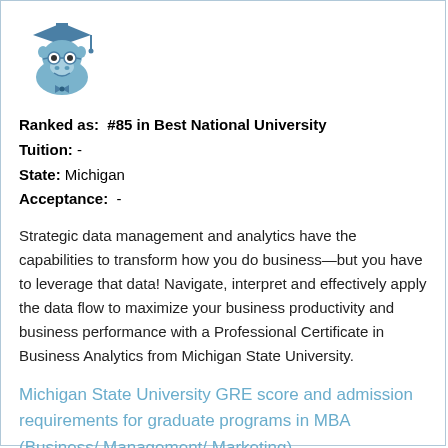[Figure (illustration): Cartoon blue hippo mascot wearing graduation cap and glasses]
Ranked as:  #85 in Best National University
Tuition:  -
State:  Michigan
Acceptance:  -
Strategic data management and analytics have the capabilities to transform how you do business—but you have to leverage that data! Navigate, interpret and effectively apply the data flow to maximize your business productivity and business performance with a Professional Certificate in Business Analytics from Michigan State University.
Michigan State University GRE score and admission requirements for graduate programs in MBA (Business/ Management/ Marketing)